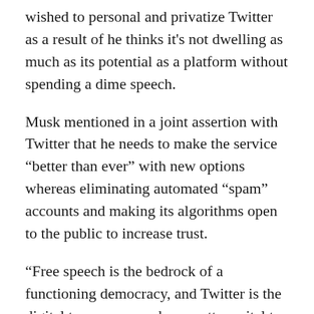wished to personal and privatize Twitter as a result of he thinks it's not dwelling as much as its potential as a platform without spending a dime speech.
Musk mentioned in a joint assertion with Twitter that he needs to make the service "better than ever" with new options whereas eliminating automated "spam" accounts and making its algorithms open to the public to increase trust.
“Free speech is the bedrock of a functioning democracy, and Twitter is the digital town square where matters vital to the future of humanity are debated,” the 50-year-old Musk mentioned, including hearts, stars and rocket emojis in a tweet that highlighted the assertion.
The extra hands-off strategy to content material